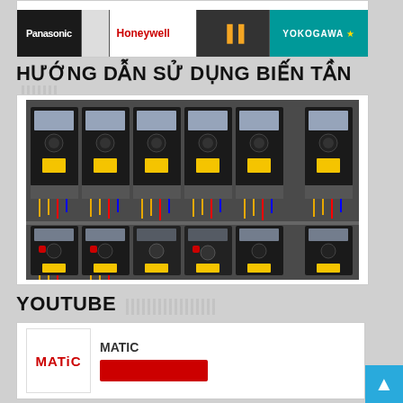[Figure (photo): Brand banner showing Panasonic, Honeywell, and Yokogawa logos on dark background]
HƯỚNG DẪN SỬ DỤNG BIẾN TẦN
[Figure (photo): Two rows of Danfoss VLT series variable frequency drives (biến tần) mounted in an electrical panel with wiring]
YOUTUBE
[Figure (logo): MATIC YouTube channel card with red MATIC logo and subscribe button]